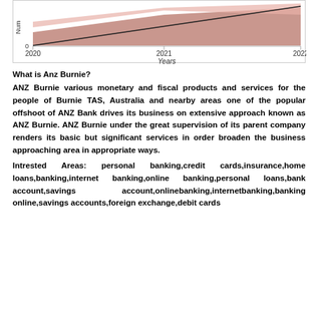[Figure (area-chart): Area chart showing trend from 2020 to 2022 with a rising area and a near-flat black line, y-axis starts at 0]
What is Anz Burnie?
ANZ Burnie various monetary and fiscal products and services for the people of Burnie TAS, Australia and nearby areas one of the popular offshoot of ANZ Bank drives its business on extensive approach known as ANZ Burnie. ANZ Burnie under the great supervision of its parent company renders its basic but significant services in order broaden the business approaching area in appropriate ways.
Intrested Areas: personal banking,credit cards,insurance,home loans,banking,internet banking,online banking,personal loans,bank account,savings account,onlinebanking,internetbanking,banking online,savings accounts,foreign exchange,debit cards